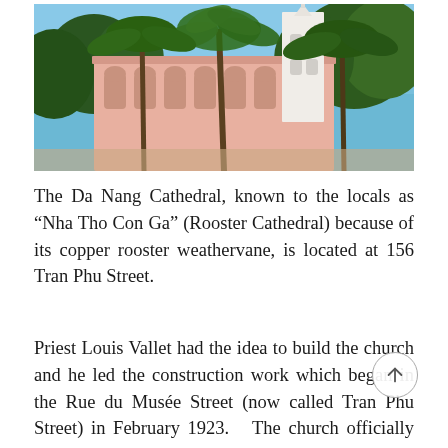[Figure (photo): Exterior photograph of Da Nang Cathedral (Nha Tho Con Ga / Rooster Cathedral), a pink Gothic-style church with white bell tower, surrounded by tall palm trees against a blue sky.]
The Da Nang Cathedral, known to the locals as “Nha Tho Con Ga” (Rooster Cathedral) because of its copper rooster weathervane, is located at 156 Tran Phu Street.
Priest Louis Vallet had the idea to build the church and he led the construction work which began in the Rue du Musée Street (now called Tran Phu Street) in February 1923.  The church officially opened its doors on 10 March 1924 with the purpose of serving the French Catholics who lived in Da Nang at that time.  According to an explanation from the priest, the